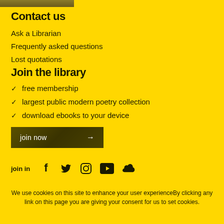[Figure (photo): Partial image visible at top of page, brownish/dark tones]
Contact us
Ask a Librarian
Frequently asked questions
Lost quotations
Join the library
free membership
largest public modern poetry collection
download ebooks to your device
join now →
join in
We use cookies on this site to enhance your user experienceBy clicking any link on this page you are giving your consent for us to set cookies.